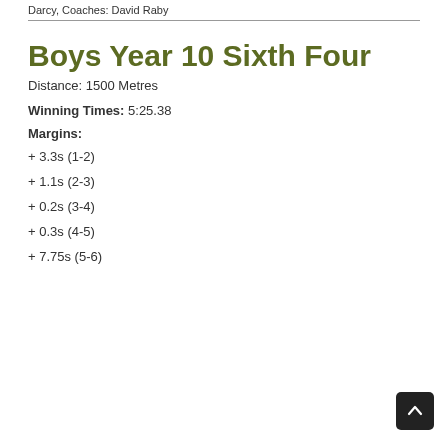Darcy, Coaches: David Raby
Boys Year 10 Sixth Four
Distance: 1500 Metres
Winning Times: 5:25.38
Margins:
+ 3.3s (1-2)
+ 1.1s (2-3)
+ 0.2s (3-4)
+ 0.3s (4-5)
+ 7.75s (5-6)